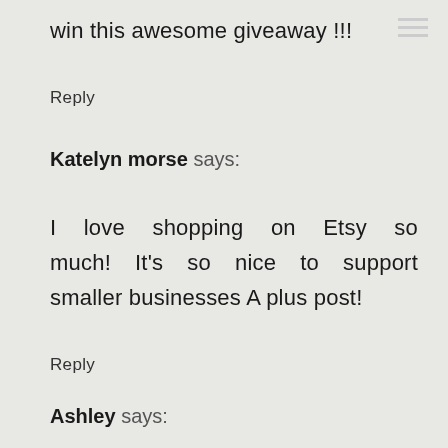win this awesome giveaway !!!
Reply
Katelyn morse says:
I love shopping on Etsy so much! It's so nice to support smaller businesses A plus post!
Reply
Ashley says: